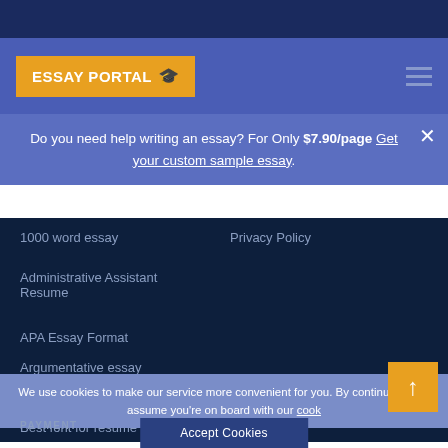[Figure (logo): Essay Portal logo with graduation cap icon on yellow background]
Do you need help writing an essay? For Only $7.90/page Get your custom sample essay.
1000 word essay
Privacy Policy
Administrative Assistant Resume
APA Essay Format
Argumentative essay
Argumentative essay outline
Argumentative essay topics
Best font for resume
We use cookies to make our service more convenient for you. By continuing we'll assume you're on board with our cook
PAYMENT